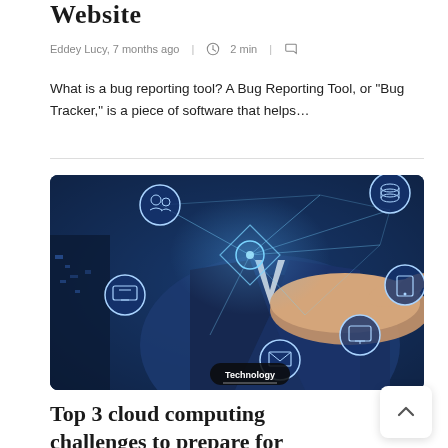Website
Eddey Lucy, 7 months ago  |  2 min  |
What is a bug reporting tool? A Bug Reporting Tool, or “Bug Tracker,” is a piece of software that helps…
[Figure (photo): Person in suit pointing finger toward camera with network technology icons (database, computer, monitor, envelope, devices) connected by lines overlaid. Technology label in bottom left corner.]
Top 3 cloud computing challenges to prepare for